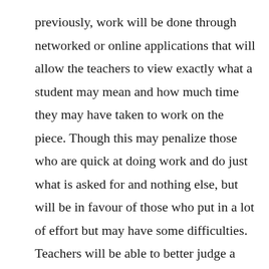previously, work will be done through networked or online applications that will allow the teachers to view exactly what a student may mean and how much time they may have taken to work on the piece. Though this may penalize those who are quick at doing work and do just what is asked for and nothing else, but will be in favour of those who put in a lot of effort but may have some difficulties. Teachers will be able to better judge a student's aptitude and knowledge in the future than they currently can. In my opinion, to judge someone's intelligence based on test scores shouldn't be the